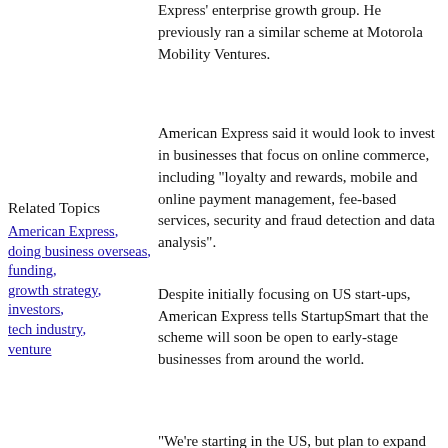Express’ enterprise growth group. He previously ran a similar scheme at Motorola Mobility Ventures.
American Express said it would look to invest in businesses that focus on online commerce, including “loyalty and rewards, mobile and online payment management, fee-based services, security and fraud detection and data analysis”.
Related Topics
American Express
doing business overseas
funding
growth strategy
investors
tech industry
venture
Despite initially focusing on US start-ups, American Express tells StartupSmart that the scheme will soon be open to early-stage businesses from around the world.
“We’re starting in the US, but plan to expand internationally in the near future,” says a company spokeswoman.